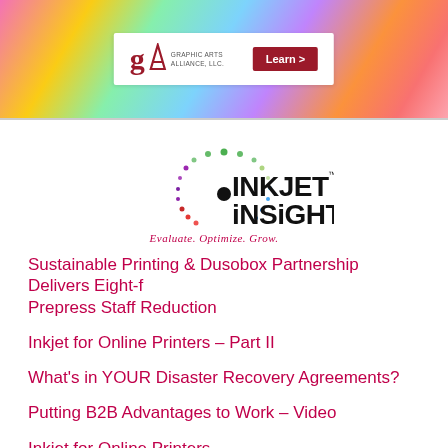[Figure (logo): Graphic Arts Alliance, LLC. banner advertisement with colorful gradient background, white logo panel with 'gA GRAPHIC ARTS ALLIANCE, LLC.' and a red 'Learn >' button]
[Figure (logo): Inkjet Insight logo with colorful dot starburst pattern and text 'INKJET INSIGHT Evaluate. Optimize. Grow.']
Sustainable Printing & Dusobox Partnership Delivers Eight-f… Prepress Staff Reduction
Inkjet for Online Printers – Part II
What's in YOUR Disaster Recovery Agreements?
Putting B2B Advantages to Work – Video
Inkjet for Online Printers
July Installation Roundup (and bonus video)